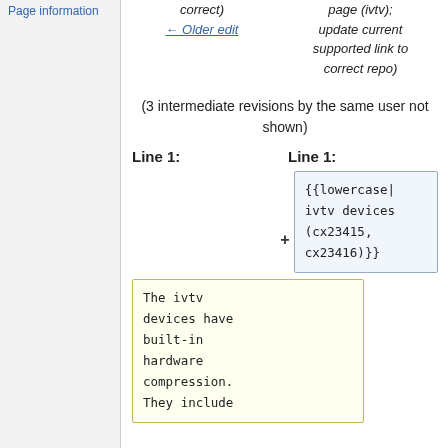Page information
correct)
← Older edit
page (ivtv); update current supported link to correct repo)
(3 intermediate revisions by the same user not shown)
Line 1:
Line 1:
{{lowercase|
ivtv devices
(cx23415,
cx23416)}}
The ivtv
devices have
built-in
hardware
compression.
They include